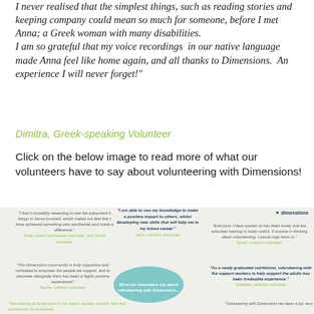I never realised that the simplest things, such as reading stories and keeping company could mean so much for someone, before I met Anna; a Greek woman with many disabilities. I am so grateful that my voice recordings in our native language made Anna feel like home again, and all thanks to Dimensions. An experience I will never forget!"
Dimitra, Greek-speaking Volunteer
Click on the below image to read more of what our volunteers have to say about volunteering with Dimensions!
[Figure (infographic): Collage of volunteer quotes with speech bubbles and a Dimensions logo. Multiple quotes from volunteers including Andy, John, Naomi, Sarah, Adelaide about their volunteering experiences with Dimensions.]